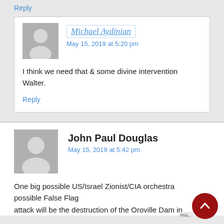Reply
Michael Aydinian
May 15, 2019 at 5:20 pm
I think we need that & some divine intervention Walter.
Reply
John Paul Douglas
May 15, 2019 at 5:42 pm
One big possible US/Israel Zionist/CIA orchestra possible False Flag attack will be the destruction of the Oroville Dam in